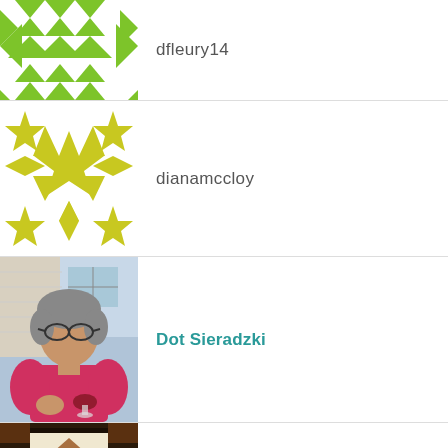[Figure (illustration): Green quilt pattern avatar with X and pinwheel shapes on white background]
dfleury14
[Figure (illustration): Yellow-green quilt pattern avatar with star and pinwheel shapes]
dianamccloy
[Figure (photo): Photo of a woman with gray hair and glasses wearing a pink shirt, holding a glass of red wine outdoors]
Dot Sieradzki
[Figure (photo): Photo of a quilt with a light-colored house/church design on dark border]
GloucesterQuilter